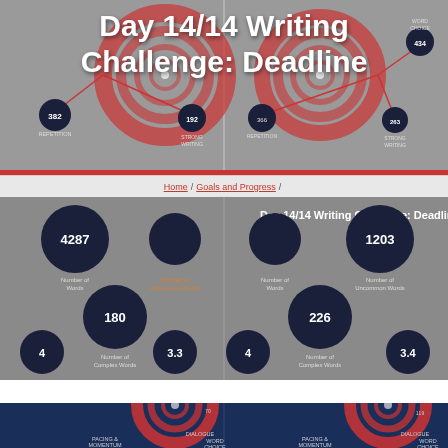[Figure (infographic): Top banner showing two writing analysis radar/network charts side by side with circular fingerprint motifs, nodes labeled REPETITION, STRONG WRITING, WORD CHOICE with values 382, 192, 434, 366, 263]
Day 14/14 Writing Challenge: Deadline
Home / Goals and Progress / Day 14/14 Writing Challenge: Deadline
[Figure (infographic): Two side-by-side stats panels on grey background showing circular stats: left panel - 4287 Number of Words, (orange) Number of Uncommon Words, 180 Number of Complex Words, 4, 3.3; right panel - 1203 Number of Words, Number of Uncommon Words, 226 Number of Complex Words, 4, 3.4]
[Figure (infographic): Bottom section showing two side-by-side writing analysis radar charts with blue/navy background and red/orange fingerprint circles, nodes labeled PACING & MOMENTUM, DIALOGUE, WORD CHOICE with values including 70, 14, 119, 414]